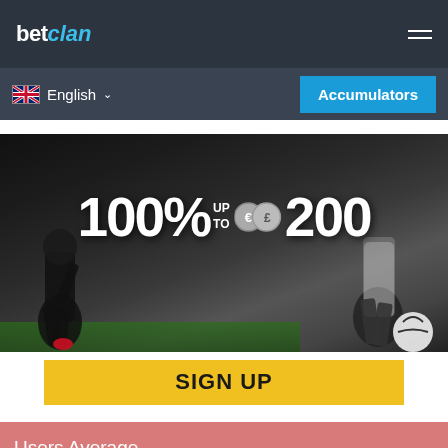betclan
English
Accumulators
[Figure (photo): Sports betting promotional banner showing soccer players with text '100% UP TO €£200' and a yellow SIGN UP button]
Users Average
This website uses cookies to improve your user experience. If you continue on this website, you will be providing your consent to our use of cookies.
Info
Accept